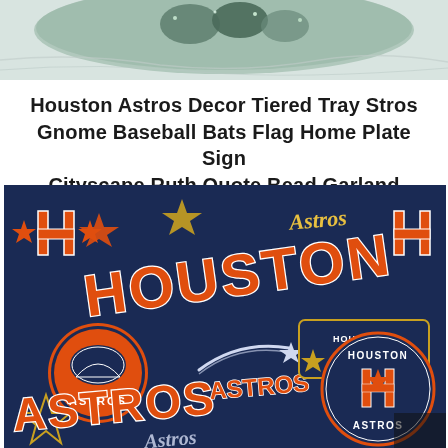[Figure (photo): Top portion of a tiered tray decoration with Houston Astros themed items, showing glittery/metallic decor items on a marble-like surface]
Houston Astros Decor Tiered Tray Stros Gnome Baseball Bats Flag Home Plate Sign Cityscape Ruth Quote Bead Garland
[Figure (photo): Houston Astros themed fabric or wrapping paper with navy blue background featuring multiple Astros logos including the H logo with stars, HOUSTON text in orange, circular Astros badge, shooting star Astros logo, modern Houston Astros circle logo, and ASTROS text in various sizes and arrangements]